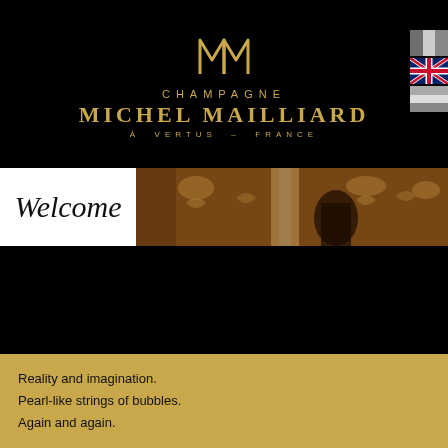[Figure (logo): MM monogram logo in gold with CHAMPAGNE MICHEL MAILLIARD À VERTUS – FRANCE text]
[Figure (illustration): White panel with 'Welcome' in cursive script on the left; ornate gilded interior image on the right]
Reality and imagination.
Pearl-like strings of bubbles.
Again and again.